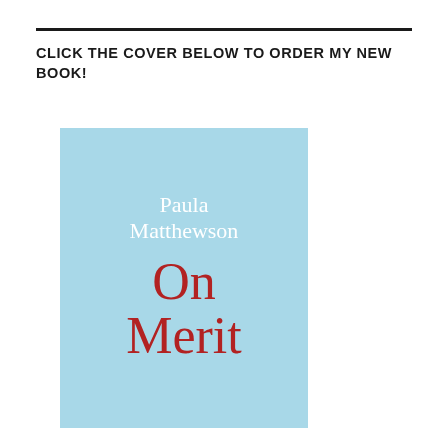CLICK THE COVER BELOW TO ORDER MY NEW BOOK!
[Figure (illustration): Book cover for 'On Merit' by Paula Matthewson. Light blue background with white serif author name 'Paula Matthewson' at top and dark red/crimson large serif title 'On Merit' below.]